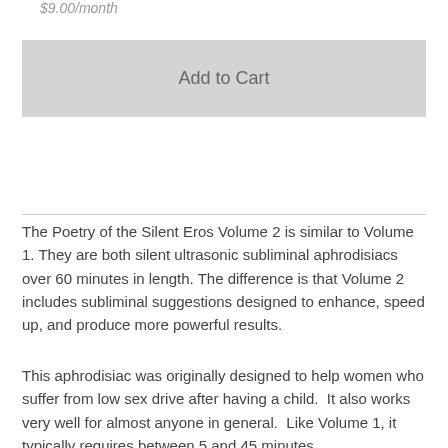$9.00/month
Add to Cart
The Poetry of the Silent Eros Volume 2 is similar to Volume 1. They are both silent ultrasonic subliminal aphrodisiacs over 60 minutes in length. The difference is that Volume 2 includes subliminal suggestions designed to enhance, speed up, and produce more powerful results.
This aphrodisiac was originally designed to help women who suffer from low sex drive after having a child.  It also works very well for almost anyone in general.  Like Volume 1, it typically requires between 5 and 45 minutes